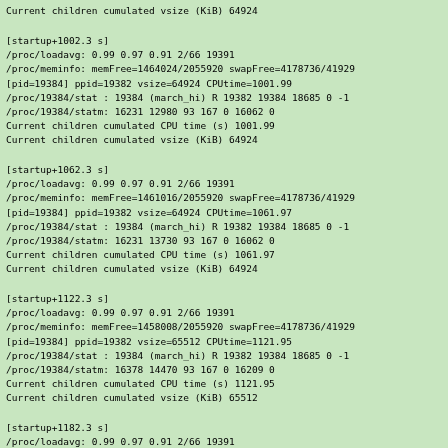Current children cumulated vsize (KiB) 64924

[startup+1002.3 s]
/proc/loadavg: 0.99 0.97 0.91 2/66 19391
/proc/meminfo: memFree=1464024/2055920 swapFree=4178736/41929
[pid=19384] ppid=19382 vsize=64924 CPUtime=1001.99
/proc/19384/stat : 19384 (march_hi) R 19382 19384 18685 0 -1
/proc/19384/statm: 16231 12980 93 167 0 16062 0
Current children cumulated CPU time (s) 1001.99
Current children cumulated vsize (KiB) 64924

[startup+1062.3 s]
/proc/loadavg: 0.99 0.97 0.91 2/66 19391
/proc/meminfo: memFree=1461016/2055920 swapFree=4178736/41929
[pid=19384] ppid=19382 vsize=64924 CPUtime=1061.97
/proc/19384/stat : 19384 (march_hi) R 19382 19384 18685 0 -1
/proc/19384/statm: 16231 13730 93 167 0 16062 0
Current children cumulated CPU time (s) 1061.97
Current children cumulated vsize (KiB) 64924

[startup+1122.3 s]
/proc/loadavg: 0.99 0.97 0.91 2/66 19391
/proc/meminfo: memFree=1458008/2055920 swapFree=4178736/41929
[pid=19384] ppid=19382 vsize=65512 CPUtime=1121.95
/proc/19384/stat : 19384 (march_hi) R 19382 19384 18685 0 -1
/proc/19384/statm: 16378 14470 93 167 0 16209 0
Current children cumulated CPU time (s) 1121.95
Current children cumulated vsize (KiB) 65512

[startup+1182.3 s]
/proc/loadavg: 0.99 0.97 0.91 2/66 19391
/proc/meminfo: memFree=1455064/2055920 swapFree=4178736/41929